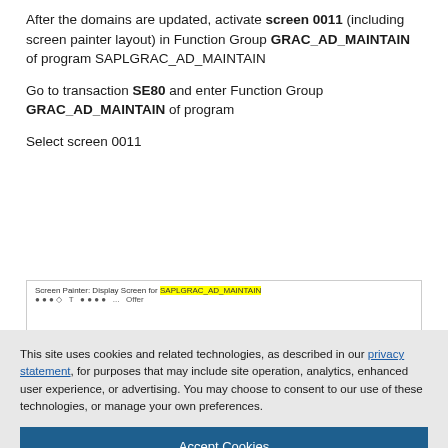After the domains are updated, activate screen 0011 (including screen painter layout) in Function Group GRAC_AD_MAINTAIN of program SAPLGRAC_AD_MAINTAIN
Go to transaction SE80 and enter Function Group GRAC_AD_MAINTAIN of program
Select screen 0011
[Figure (screenshot): Screen Painter: Display Screen for SAPLGRAC_AD_MAINTAIN with toolbar and highlighted text]
This site uses cookies and related technologies, as described in our privacy statement, for purposes that may include site operation, analytics, enhanced user experience, or advertising. You may choose to consent to our use of these technologies, or manage your own preferences.
Accept Cookies
More Information
Privacy Policy | Powered by: TrustArc